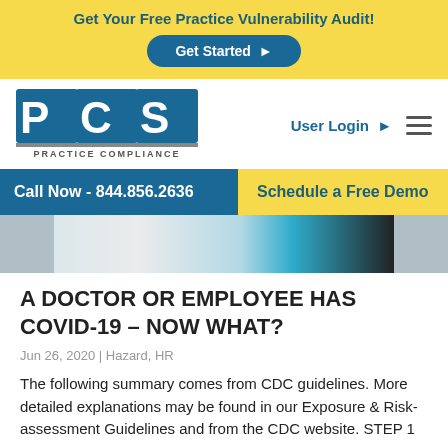Get Your Free Practice Vulnerability Audit!
[Figure (logo): PCS Practice Compliance Solutions logo]
User Login
Call Now - 844.856.2636
Schedule a Free Demo
[Figure (photo): Photo of two people in medical/professional setting]
A DOCTOR OR EMPLOYEE HAS COVID-19 – NOW WHAT?
Jun 26, 2020 | Hazard, HR
The following summary comes from CDC guidelines. More detailed explanations may be found in our Exposure & Risk-assessment Guidelines and from the CDC website. STEP 1